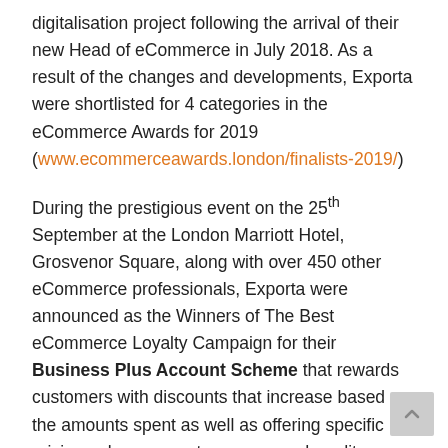digitalisation project following the arrival of their new Head of eCommerce in July 2018. As a result of the changes and developments, Exporta were shortlisted for 4 categories in the eCommerce Awards for 2019 (www.ecommerceawards.london/finalists-2019/)
During the prestigious event on the 25th September at the London Marriott Hotel, Grosvenor Square, along with over 450 other eCommerce professionals, Exporta were announced as the Winners of The Best eCommerce Loyalty Campaign for their Business Plus Account Scheme that rewards customers with discounts that increase based on the amounts spent as well as offering specific pricing, a key account manager and credit facilities amongst several additional benefits.